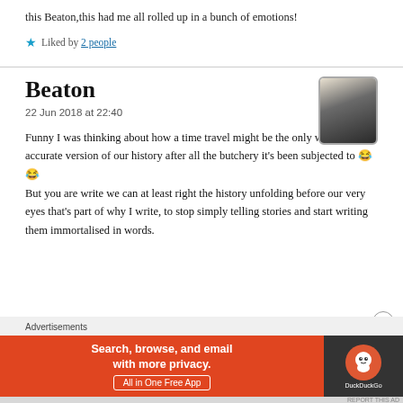this Beaton,this had me all rolled up in a bunch of emotions!
★ Liked by 2 people
Beaton
22 Jun 2018 at 22:40
Funny I was thinking about how a time travel might be the only way to get an accurate version of our history after all the butchery it's been subjected to 😂 😂
But you are write we can at least right the history unfolding before our very eyes that's part of why I write, to stop simply telling stories and start writing them immortalised in words.
[Figure (other): Profile avatar photo of Beaton - black and white photo of person wearing a hat]
Advertisements
[Figure (other): DuckDuckGo advertisement banner: Search, browse, and email with more privacy. All in One Free App]